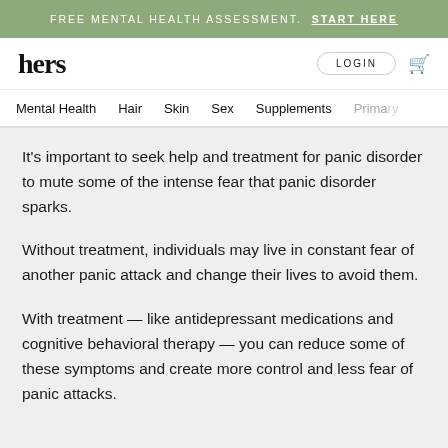FREE MENTAL HEALTH ASSESSMENT. START HERE
hers | LOGIN
Mental Health  Hair  Skin  Sex  Supplements  Primary
It's important to seek help and treatment for panic disorder to mute some of the intense fear that panic disorder sparks.
Without treatment, individuals may live in constant fear of another panic attack and change their lives to avoid them.
With treatment — like antidepressant medications and cognitive behavioral therapy — you can reduce some of these symptoms and create more control and less fear of panic attacks.